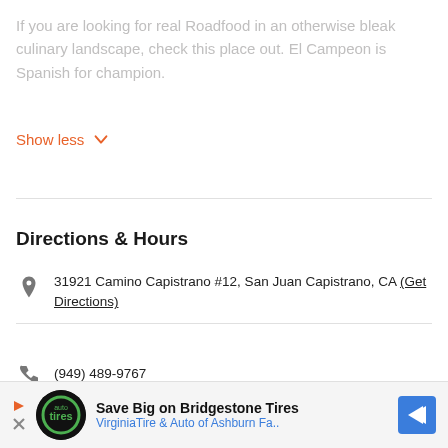If you are looking for real Roadfood in an otherwise bleak culinary landscape, check this place out. El Campeon is Spanish for champion.
Show less
Directions & Hours
31921 Camino Capistrano #12, San Juan Capistrano, CA (Get Directions)
(949) 489-9767
Visit Their Website
6am - 8:30pm
[Figure (infographic): Advertisement banner for Virginia Tire & Auto of Ashburn with Bridgestone Tires promotion]